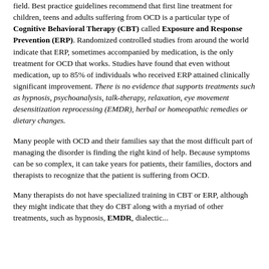field. Best practice guidelines recommend that first line treatment for children, teens and adults suffering from OCD is a particular type of Cognitive Behavioral Therapy (CBT) called Exposure and Response Prevention (ERP). Randomized controlled studies from around the world indicate that ERP, sometimes accompanied by medication, is the only treatment for OCD that works. Studies have found that even without medication, up to 85% of individuals who received ERP attained clinically significant improvement. There is no evidence that supports treatments such as hypnosis, psychoanalysis, talk-therapy, relaxation, eye movement desensitization reprocessing (EMDR), herbal or homeopathic remedies or dietary changes.
Many people with OCD and their families say that the most difficult part of managing the disorder is finding the right kind of help. Because symptoms can be so complex, it can take years for patients, their families, doctors and therapists to recognize that the patient is suffering from OCD.
Many therapists do not have specialized training in CBT or ERP, although they might indicate that they do CBT along with a myriad of other treatments, such as hypnosis, EMDR, dialectic...